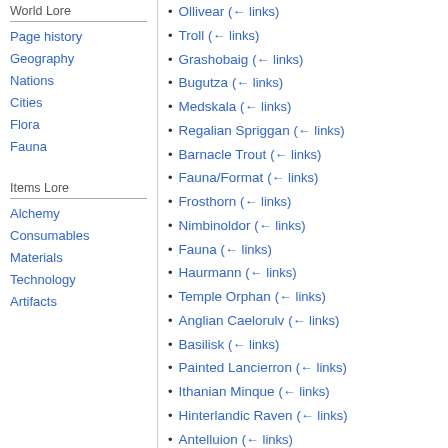World Lore
Page history
Geography
Nations
Cities
Flora
Fauna
Items Lore
Alchemy
Consumables
Materials
Technology
Artifacts
Ollivear  (← links)
Troll  (← links)
Grashobaig  (← links)
Bugutza  (← links)
Medskala  (← links)
Regalian Spriggan  (← links)
Barnacle Trout  (← links)
Fauna/Format  (← links)
Frosthorn  (← links)
Nimbinoldor  (← links)
Fauna  (← links)
Haurmann  (← links)
Temple Orphan  (← links)
Anglian Caelorulv  (← links)
Basilisk  (← links)
Painted Lancierron  (← links)
Ithanian Minque  (← links)
Hinterlandic Raven  (← links)
Antelluion  (← links)